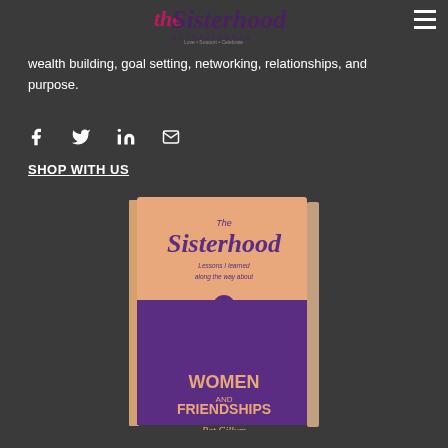The Sisterhood Extravaganza
wealth building, goal setting, networking, relationships, and purpose.
[Figure (other): Social media share icons: Facebook, Twitter, LinkedIn, Email]
SHOP WITH US
[Figure (photo): Book cover: The Sisterhood - Lessons I learned along the way about Women and Friendships by Pat Gillum. Salmon/peach colored cover with purple silhouettes of three women.]